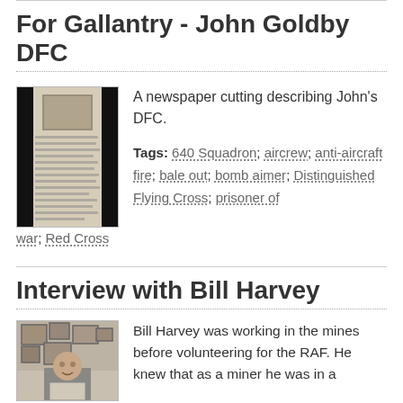For Gallantry - John Goldby DFC
[Figure (photo): A newspaper cutting — a narrow column of old newsprint with a small photograph visible]
A newspaper cutting describing John's DFC.
Tags: 640 Squadron; aircrew; anti-aircraft fire; bale out; bomb aimer; Distinguished Flying Cross; prisoner of war; Red Cross
Interview with Bill Harvey
[Figure (photo): An elderly man seated, holding a framed picture, with photographs on the wall behind him]
Bill Harvey was working in the mines before volunteering for the RAF. He knew that as a miner he was in a